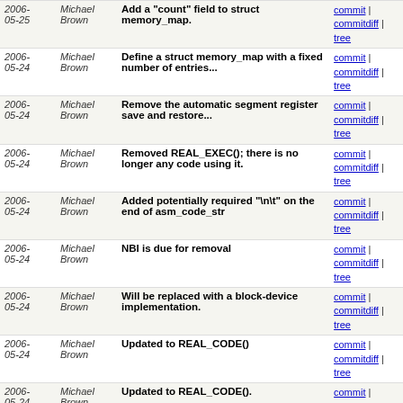| Date | Author | Message | Links |
| --- | --- | --- | --- |
| 2006-05-25 | Michael Brown | Add a "count" field to struct memory_map. | commit | commitdiff | tree |
| 2006-05-24 | Michael Brown | Define a struct memory_map with a fixed number of entries... | commit | commitdiff | tree |
| 2006-05-24 | Michael Brown | Remove the automatic segment register save and restore... | commit | commitdiff | tree |
| 2006-05-24 | Michael Brown | Removed REAL_EXEC(); there is no longer any code using it. | commit | commitdiff | tree |
| 2006-05-24 | Michael Brown | Added potentially required "\n\t" on the end of asm_code_str | commit | commitdiff | tree |
| 2006-05-24 | Michael Brown | NBI is due for removal | commit | commitdiff | tree |
| 2006-05-24 | Michael Brown | Will be replaced with a block-device implementation. | commit | commitdiff | tree |
| 2006-05-24 | Michael Brown | Updated to REAL_CODE() | commit | commitdiff | tree |
| 2006-05-24 | Michael Brown | Updated to REAL_CODE(). | commit | commitdiff | tree |
| 2006-05-24 | Michael Brown | Updated to REAL_CODE() | commit | commitdiff | tree |
| 2006-05-24 | Michael Brown | Updated to REAL_CODE(). | commit | commitdiff | tree |
| 2006-05-24 | Michael Brown | Update to REAL_CODE() | commit | commitdiff | tree |
| 2006-05-24 | Michael Brown | Updated to REAL_CODE(). | commit | commitdiff | tree |